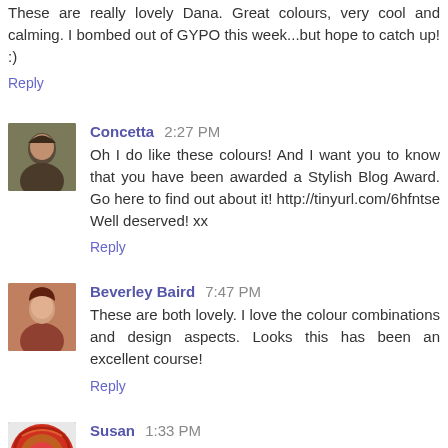These are really lovely Dana. Great colours, very cool and calming. I bombed out of GYPO this week...but hope to catch up! :)
Reply
Concetta 2:27 PM
Oh I do like these colours! And I want you to know that you have been awarded a Stylish Blog Award. Go here to find out about it! http://tinyurl.com/6hfntse Well deserved! xx
Reply
Beverley Baird 7:47 PM
These are both lovely. I love the colour combinations and design aspects. Looks this has been an excellent course!
Reply
Susan 1:33 PM